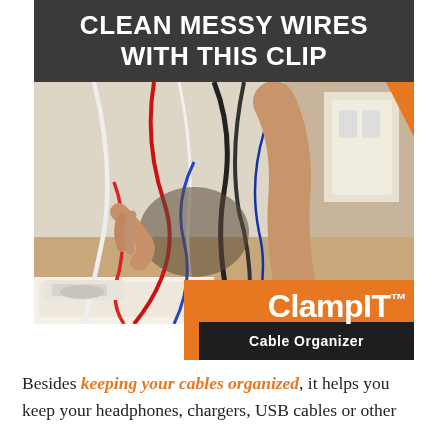[Figure (photo): Advertisement image for ClampIT Cable Organizer. Dark gray header bar at top with bold white uppercase text 'CLEAN MESSY WIRES WITH THIS CLIP'. Below is a photo of two hands dealing with a large tangle of multicolored cables (red, white, black, blue) against a wall with power outlets. Bottom-right of image has a branded overlay: orange background with 'ClampIT TM' in large bold white text and a dark bar beneath reading 'Cable Organizer' in white. An orange vertical accent strip appears on the right edge.]
Besides keeping your cables organized, it helps you keep your headphones, chargers, USB cables or other